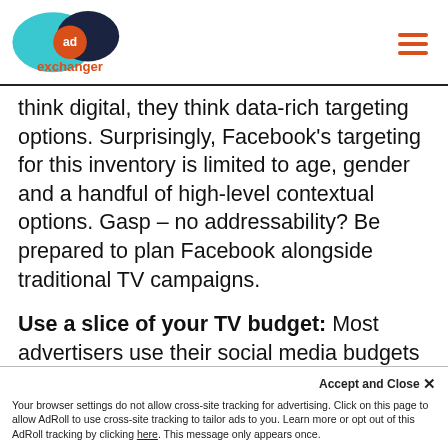AdExchanger logo and navigation
think digital, they think data-rich targeting options. Surprisingly, Facebook's targeting for this inventory is limited to age, gender and a handful of high-level contextual options. Gasp – no addressability? Be prepared to plan Facebook alongside traditional TV campaigns.
Use a slice of your TV budget: Most advertisers use their social media budgets to invest in Facebook. For brands looking to lock in video inventory ahead of schedule and use traditional TV targeting and measurement methodologies, they dollars from their TV budget instead. This will mean 'buy' dollars
Accept and Close ✕ Your browser settings do not allow cross-site tracking for advertising. Click on this page to allow AdRoll to use cross-site tracking to tailor ads to you. Learn more or opt out of this AdRoll tracking by clicking here. This message only appears once.